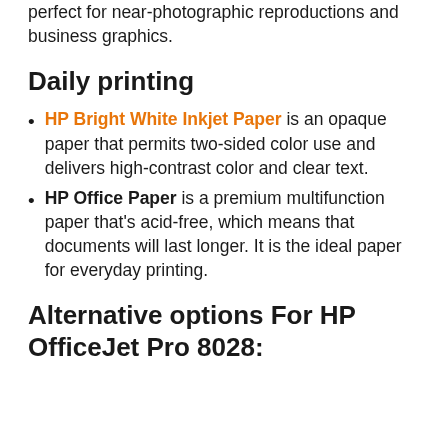perfect for near-photographic reproductions and business graphics.
Daily printing
HP Bright White Inkjet Paper is an opaque paper that permits two-sided color use and delivers high-contrast color and clear text.
HP Office Paper is a premium multifunction paper that’s acid-free, which means that documents will last longer. It is the ideal paper for everyday printing.
Alternative options For HP OfficeJet Pro 8028: